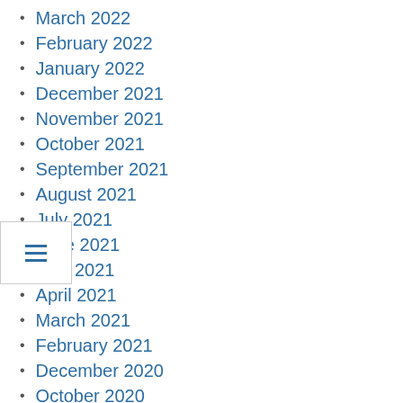March 2022
February 2022
January 2022
December 2021
November 2021
October 2021
September 2021
August 2021
July 2021
June 2021
May 2021
April 2021
March 2021
February 2021
December 2020
October 2020
September 2020
July 2020
May 2020